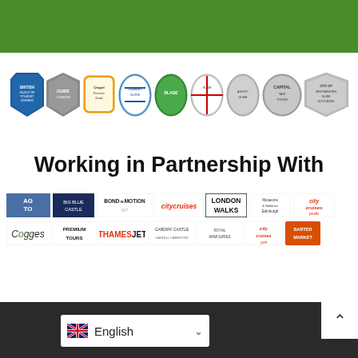[Figure (logo): Green decorative bar at top of page]
[Figure (logo): Row of nine guild/guide association badge logos including British Guild of Tourist Guides, Chapel Premium Guide, Tourist Guide, Blade, Capital Tours, City of Westminster Guide Lecturers Association]
Working in Partnership With
[Figure (logo): Two rows of partner organization logos: AGTO, Big Blue Castle, Bond in Motion 007, citycruises, London Walks, Museums & Galleries Edinburgh, city cruises poole, Cogges, Premium Tours, ThamesJet, Cardiff Castle, Royal Armouries, city cruises york, Barter Market]
[Figure (logo): Dark footer bar with English language selector dropdown and scroll-to-top button]